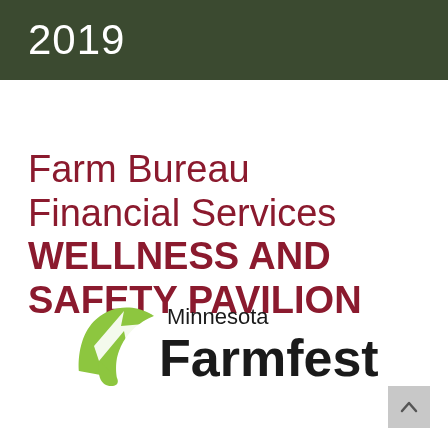2019
Farm Bureau Financial Services WELLNESS AND SAFETY PAVILION
[Figure (logo): Minnesota Farmfest logo with green leaf/arrow icon and bold black text reading 'Minnesota Farmfest']